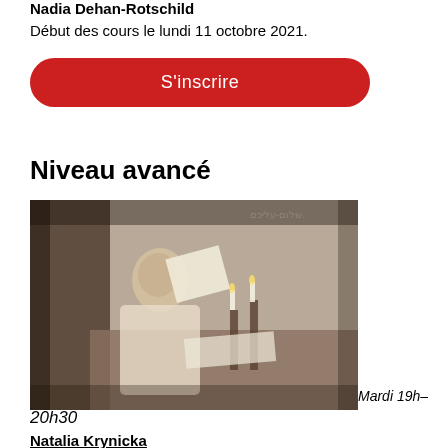Nadia Dehan-Rotschild
Début des cours le lundi 11 octobre 2021.
S'inscrire
Niveau avancé
[Figure (photo): Black and white vintage photograph of a man reading papers at a desk with candles, Hebrew text visible in top right corner]
Mardi 19h– 20h30
Natalia Krynicka